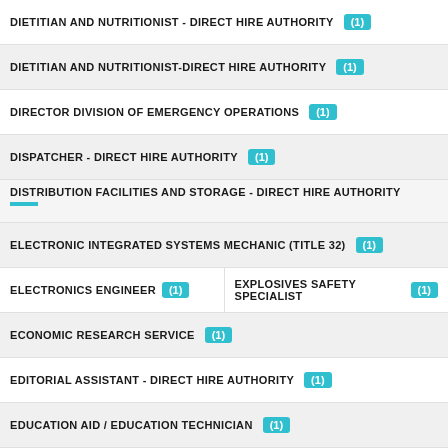DIETITIAN AND NUTRITIONIST - DIRECT HIRE AUTHORITY (1)
DIETITIAN AND NUTRITIONIST-DIRECT HIRE AUTHORITY (1)
DIRECTOR DIVISION OF EMERGENCY OPERATIONS (1)
DISPATCHER - DIRECT HIRE AUTHORITY (1)
DISTRIBUTION FACILITIES AND STORAGE - DIRECT HIRE AUTHORITY
ELECTRONIC INTEGRATED SYSTEMS MECHANIC (TITLE 32) (1)
ELECTRONICS ENGINEER (1)
EXPLOSIVES SAFETY SPECIALIST (1)
ECONOMIC RESEARCH SERVICE (1)
EDITORIAL ASSISTANT - DIRECT HIRE AUTHORITY (1)
EDUCATION AID / EDUCATION TECHNICIAN (1)
EDUCATION SERVICES - DIRECT HIRE AUTHORITY (1)
EDUCATIONAL AID (VARIOUS) (1)
EDUCATIONAL AIDE (VARIOUS) (1)
ELECTRICAL ENGINEER (1)